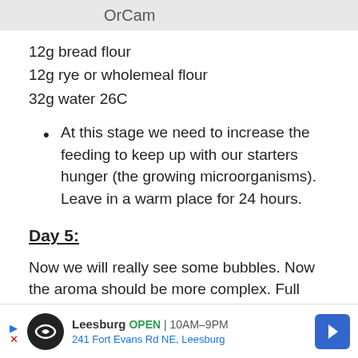OrCam
12g bread flour
12g rye or wholemeal flour
32g water 26C
At this stage we need to increase the feeding to keep up with our starters hunger (the growing microorganisms). Leave in a warm place for 24 hours.
Day 5:
Now we will really see some bubbles. Now the aroma should be more complex. Full lactic and acetic aromas are present and the starter should be looking alive. After
[Figure (other): Advertisement banner for Leesburg store showing logo, open hours 10AM-9PM, address 241 Fort Evans Rd NE, Leesburg, and a navigation arrow icon]